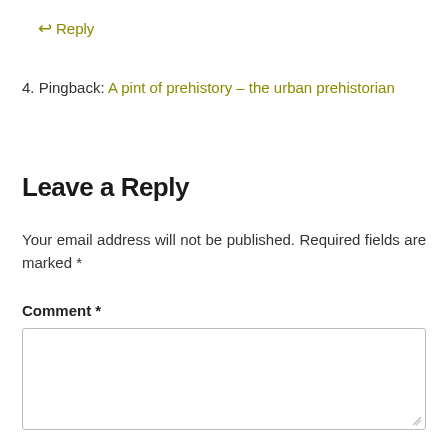← Reply
4. Pingback: A pint of prehistory – the urban prehistorian
Leave a Reply
Your email address will not be published. Required fields are marked *
Comment *
[Figure (other): Empty comment text area input box]